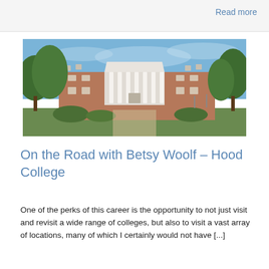Read more
[Figure (photo): Photograph of Hood College main building — a large red-brick colonial-style academic building with white columns, a white pediment, and dormer windows, flanked by large green trees under a blue sky.]
On the Road with Betsy Woolf – Hood College
One of the perks of this career is the opportunity to not just visit and revisit a wide range of colleges, but also to visit a vast array of locations, many of which I certainly would not have [...]